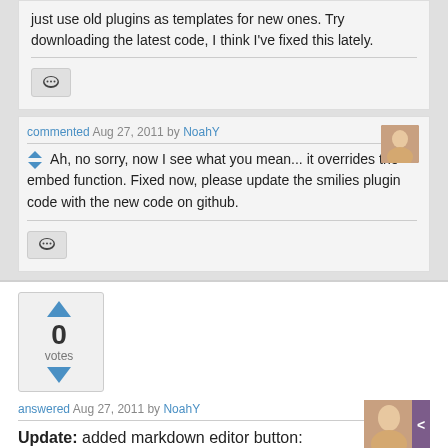just use old plugins as templates for new ones. Try downloading the latest code, I think I've fixed this lately.
[Figure (other): Comment button with speech bubble icon]
commented Aug 27, 2011 by NoahY
Ah, no sorry, now I see what you mean... it overrides the embed function. Fixed now, please update the smilies plugin code with the new code on github.
[Figure (other): Comment button with speech bubble icon]
[Figure (other): Vote box with up/down arrows and count 0]
answered Aug 27, 2011 by NoahY
Update: added markdown editor button: